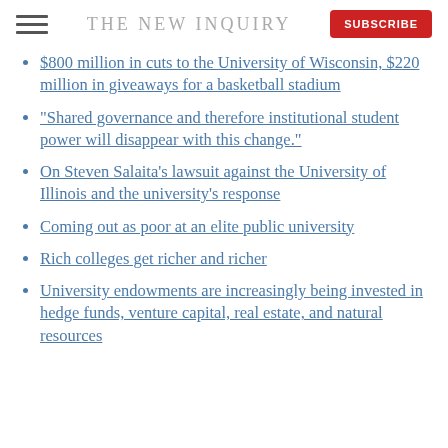THE NEW INQUIRY
$800 million in cuts to the University of Wisconsin, $220 million in giveaways for a basketball stadium
"Shared governance and therefore institutional student power will disappear with this change."
On Steven Salaita's lawsuit against the University of Illinois and the university's response
Coming out as poor at an elite public university
Rich colleges get richer and richer
University endowments are increasingly being invested in hedge funds, venture capital, real estate, and natural resources